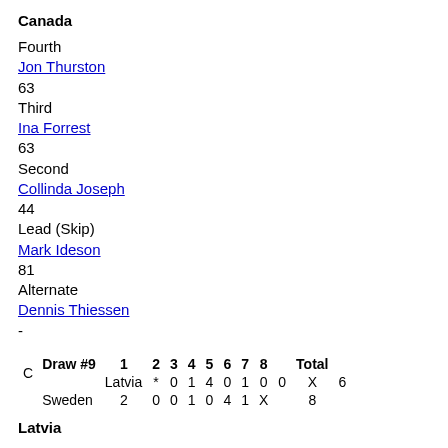Canada
Fourth
Jon Thurston
63
Third
Ina Forrest
63
Second
Collinda Joseph
44
Lead (Skip)
Mark Ideson
81
Alternate
Dennis Thiessen
-
| Draw #9 | 1 | 2 | 3 | 4 | 5 | 6 | 7 | 8 |  | Total |
| --- | --- | --- | --- | --- | --- | --- | --- | --- | --- | --- |
| Latvia | * | 0 | 1 | 4 | 0 | 1 | 0 | 0 | X | 6 |
| Sweden | 2 | 0 | 0 | 1 | 0 | 4 | 1 | X |  | 8 |
Latvia